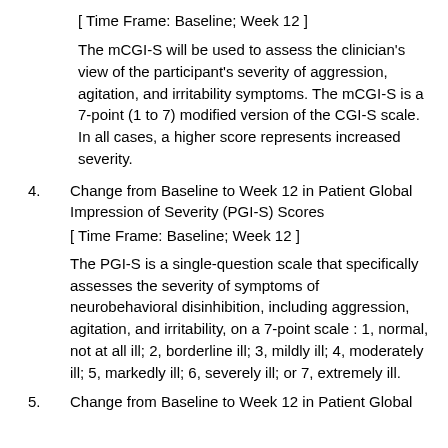[ Time Frame: Baseline; Week 12 ]
The mCGI-S will be used to assess the clinician's view of the participant's severity of aggression, agitation, and irritability symptoms. The mCGI-S is a 7-point (1 to 7) modified version of the CGI-S scale. In all cases, a higher score represents increased severity.
4. Change from Baseline to Week 12 in Patient Global Impression of Severity (PGI-S) Scores
[ Time Frame: Baseline; Week 12 ]
The PGI-S is a single-question scale that specifically assesses the severity of symptoms of neurobehavioral disinhibition, including aggression, agitation, and irritability, on a 7-point scale : 1, normal, not at all ill; 2, borderline ill; 3, mildly ill; 4, moderately ill; 5, markedly ill; 6, severely ill; or 7, extremely ill.
5. Change from Baseline to Week 12 in Patient Global